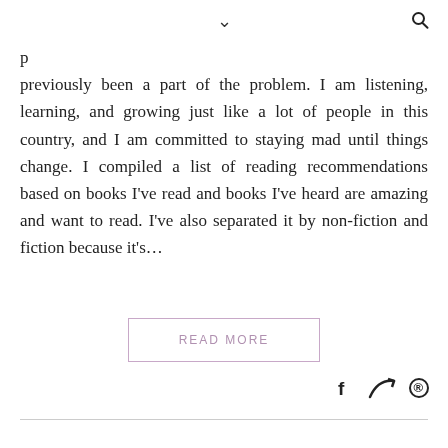▾  🔍
previously been a part of the problem. I am listening, learning, and growing just like a lot of people in this country, and I am committed to staying mad until things change. I compiled a list of reading recommendations based on books I've read and books I've heard are amazing and want to read. I've also separated it by non-fiction and fiction because it's...
READ MORE
f  share   pinterest